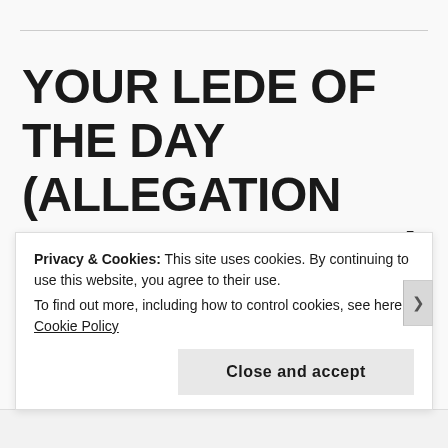YOUR LEDE OF THE DAY (ALLEGATION AND ALLIGATOR)
Er … okay ...
Authorities in Florida have arrested a man accused of throwing a live alligator through a restaurant's drive-through window.
Privacy & Cookies: This site uses cookies. By continuing to use this website, you agree to their use.
To find out more, including how to control cookies, see here: Cookie Policy
Close and accept